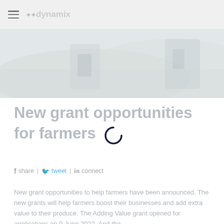dynamix
[Figure (photo): Blurred/faded hero image of a farmer using a mobile phone outdoors in a field]
New grant opportunities for farmers
share | tweet | connect
New grant opportunities to help farmers have been announced. The new grants will help farmers boost their businesses and add extra value to their produce. The Adding Value grant opened for applications on 9 June 2022. And the…